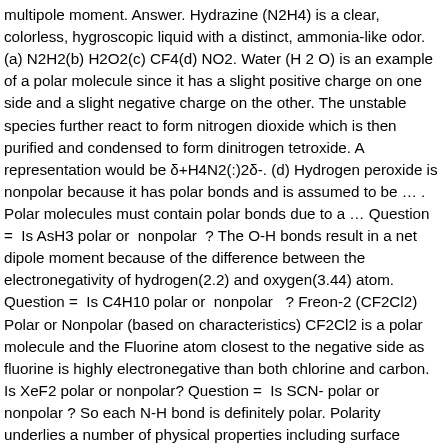multipole moment. Answer. Hydrazine (N2H4) is a clear, colorless, hygroscopic liquid with a distinct, ammonia-like odor. (a) N2H2(b) H2O2(c) CF4(d) NO2. Water (H 2 O) is an example of a polar molecule since it has a slight positive charge on one side and a slight negative charge on the other. The unstable species further react to form nitrogen dioxide which is then purified and condensed to form dinitrogen tetroxide. A representation would be δ+H4N2(:)2δ-. (d) Hydrogen peroxide is nonpolar because it has polar bonds and is assumed to be … . Polar molecules must contain polar bonds due to a … Question =  Is AsH3 polar or  nonpolar ? The O-H bonds result in a net dipole moment because of the difference between the electronegativity of hydrogen(2.2) and oxygen(3.44) atom. Question =  Is C4H10 polar or  nonpolar  ? Freon-2 (CF2Cl2) Polar or Nonpolar (based on characteristics) CF2Cl2 is a polar molecule and the Fluorine atom closest to the negative side as fluorine is highly electronegative than both chlorine and carbon. Is XeF2 polar or nonpolar? Question =  Is SCN- polar or  nonpolar ? So each N-H bond is definitely polar. Polarity underlies a number of physical properties including surface tension, solubility, and melting and boiling points. (a) N2H2(b) H2O2(c) CF4(d) NO2. Edit. Answer =  ClF  (Chlorine monofluoride)  is  Polar